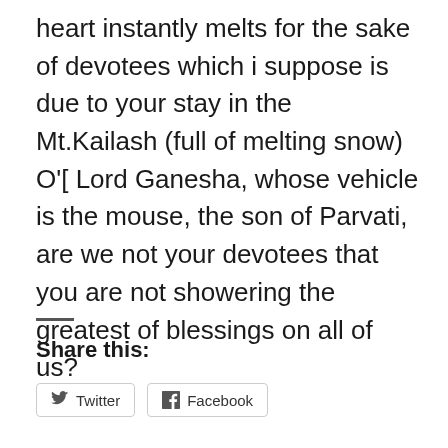heart instantly melts for the sake of devotees which i suppose is due to your stay in the Mt.Kailash (full of melting snow) O'[ Lord Ganesha, whose vehicle is the mouse, the son of Parvati, are we not your devotees that you are not showering the greatest of blessings on all of us?
Share this: